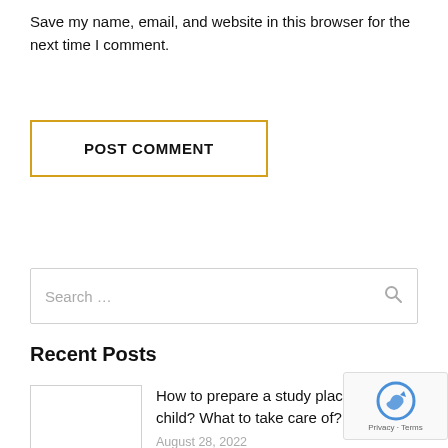Save my name, email, and website in this browser for the next time I comment.
POST COMMENT
Search …
Recent Posts
How to prepare a study place for a child? What to take care of?
August 28, 2022